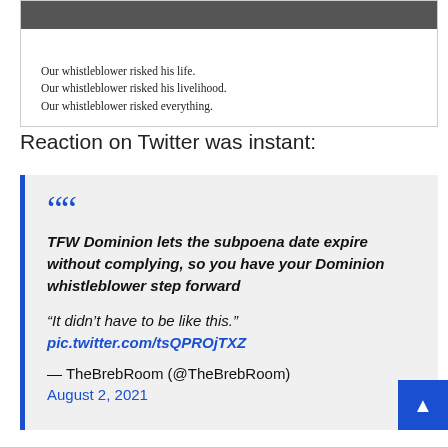[Figure (screenshot): Screenshot of an image with caption text: 'Our whistleblower risked his life. Our whistleblower risked his livelihood. Our whistleblower risked everything.']
Our whistleblower risked his life.
Our whistleblower risked his livelihood.
Our whistleblower risked everything.
Reaction on Twitter was instant:
TFW Dominion lets the subpoena date expire without complying, so you have your Dominion whistleblower step forward

“It didn’t have to be like this.”
pic.twitter.com/tsQPROjTXZ

— TheBrebRoom (@TheBrebRoom)
August 2, 2021